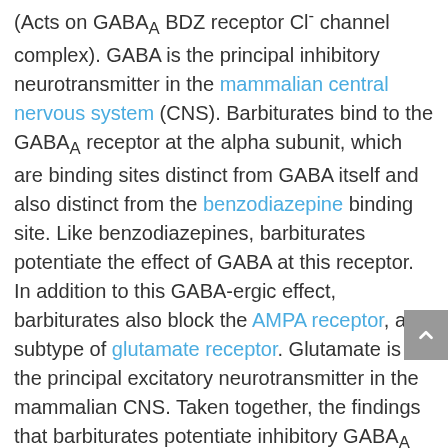(Acts on GABAA BDZ receptor Cl- channel complex). GABA is the principal inhibitory neurotransmitter in the mammalian central nervous system (CNS). Barbiturates bind to the GABAA receptor at the alpha subunit, which are binding sites distinct from GABA itself and also distinct from the benzodiazepine binding site. Like benzodiazepines, barbiturates potentiate the effect of GABA at this receptor. In addition to this GABA-ergic effect, barbiturates also block the AMPA receptor, a subtype of glutamate receptor. Glutamate is the principal excitatory neurotransmitter in the mammalian CNS. Taken together, the findings that barbiturates potentiate inhibitory GABAA receptors and inhibit excitatory AMPA receptors can explain the CNS-depressant effects of these agents. At higher concentration they inhibit the Ca2+ dependent release of neurotransmitters.[9] Barbiturates produce their pharmacological effects by increasing the duration of chloride ion channel opening at the GABAA receptor...